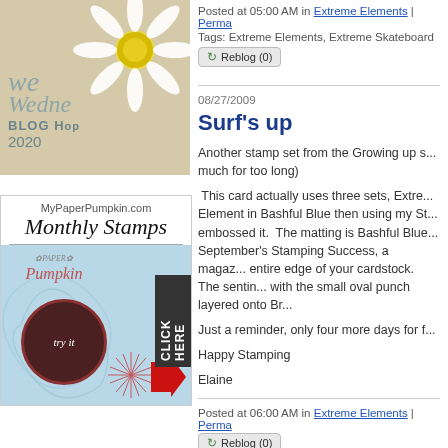[Figure (illustration): Blog Hop Wednesday 2020 image with daisy flower and text overlay on beige/tan background]
[Figure (illustration): MyPaperPumpkin.com Monthly Stamps advertisement with Paper Pumpkin logo, 'try it' circle, CLICK HERE label, and red arrow]
Posted at 05:00 AM in Extreme Elements | Perma
Tags: Extreme Elements, Extreme Skateboard
Reblog (0)
08/27/2009
Surf's up
Another stamp set from the Growing up s... much for too long)
This card actually uses three sets, Extre... Element in Bashful Blue then using my St... embossed it. The matting is Bashful Blue... September's Stamping Success, a magaz... entire edge of your cardstock. The sentin... with the small oval punch layered onto Br...
Just a reminder, only four more days for f...
Happy Stamping
Elaine
Posted at 06:00 AM in Extreme Elements | Perma
Reblog (0)